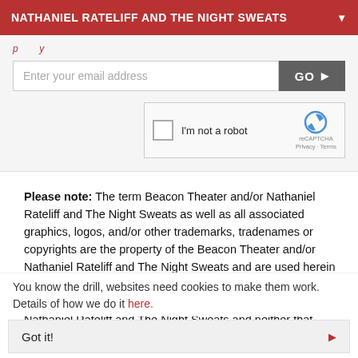NATHANIEL RATELIFF AND THE NIGHT SWEATS
[Figure (screenshot): Email signup form with input field 'Enter your email address', GO button, and reCAPTCHA widget showing 'I'm not a robot' checkbox with reCAPTCHA logo]
Please note: The term Beacon Theater and/or Nathaniel Rateliff and The Night Sweats as well as all associated graphics, logos, and/or other trademarks, tradenames or copyrights are the property of the Beacon Theater and/or Nathaniel Rateliff and The Night Sweats and are used herein for factual descriptive purposes only. We are in no way associated with or authorized by the Beacon Theater and/or Nathaniel Rateliff and The Night Sweats and neither that entity nor any of its
You know the drill, websites need cookies to make them work. Details of how we do it here.
Got it!